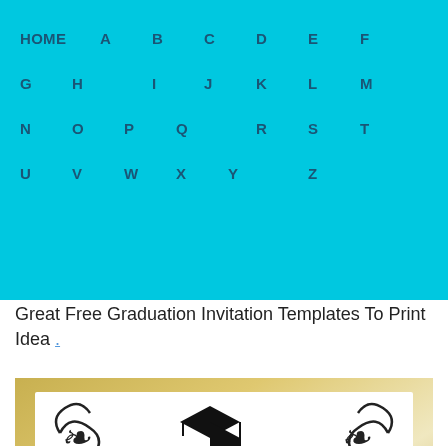HOME A B C D E F G H I J K L M N O P Q R S T U V W X Y Z
Great Free Graduation Invitation Templates To Print Idea .
[Figure (photo): A graduation party invitation card with elegant black script text reading 'graduation party', decorative flourishes, a graduation cap silhouette, and details: 'Please join us to celebrate with Samantha Nihan, Saturday May 19th 2012 @ 3:00 PM, 1234 Street Address, Houston TX 77000, Class of 2012, RSVP ONLY: ALLISON WILSON – 452-123-4567']